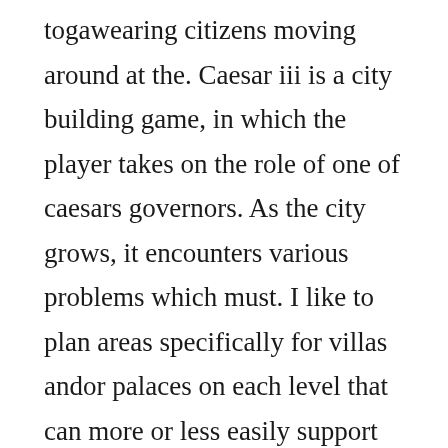togawearing citizens moving around at the. Caesar iii is a city building game, in which the player takes on the role of one of caesars governors. As the city grows, it encounters various problems which must. I like to plan areas specifically for villas andor palaces on each level that can more or less easily support them. Caesar iii is a simulation game, where you as a player has to place the right buildings on free spots to construct a city. Mits free urban planning software will help build the. If you have trouble finding it, go to your library, rightclick on caesar iii, click on the local files